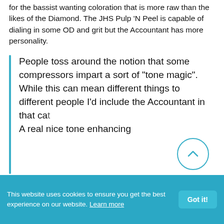for the bassist wanting coloration that is more raw than the likes of the Diamond. The JHS Pulp 'N Peel is capable of dialing in some OD and grit but the Accountant has more personality.
People toss around the notion that some compressors impart a sort of "tone magic". While this can mean different things to different people I'd include the Accountant in that ca… A real nice tone enhancing…
This website uses cookies to ensure you get the best experience on our website. Learn more